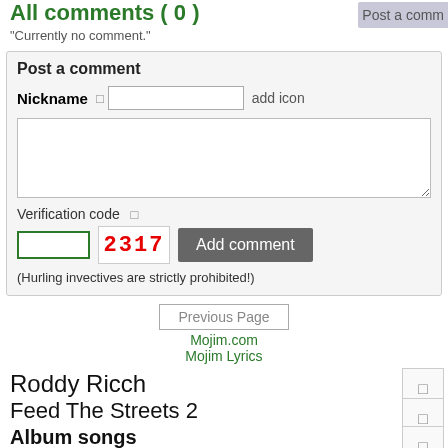All comments ( 0 )
"Currently no comment."
Post a comment
Nickname  [input]  add icon
Verification code  [input]  2317  Add comment
(Hurling invectives are strictly prohibited!)
Previous Page
Mojim.com
Mojim Lyrics
Roddy Ricch
Feed The Streets 2
Album songs
1.Feed The Streets